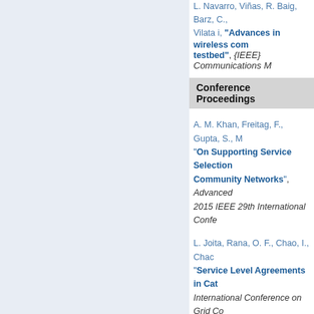L. Navarro, Viñas, R. Baig, Barz, C., Vilata i, "Advances in wireless com testbed", {IEEE} Communications M
Conference Proceedings
A. M. Khan, Freitag, F., Gupta, S., M "On Supporting Service Selection Community Networks", Advanced 2015 IEEE 29th International Confe
L. Joita, Rana, O. F., Chao, I., Chac "Service Level Agreements in Cat International Conference on Grid Co 2008.
R. Brunner, Freitag, F., and Navarro Accuracy in Large-scale Informat on Network-Based Information Syst
F. Freitag, Vilchez, P., Wei, L., Liu, C City Mesh Network with Applicatio International Conference on the Inte